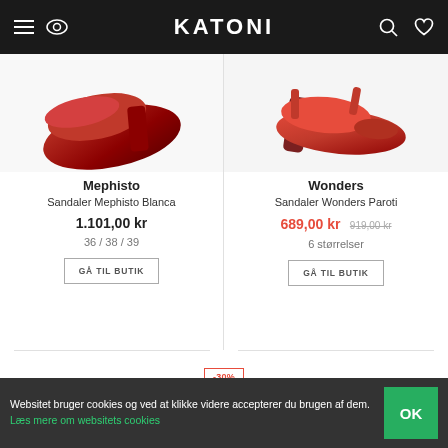KATONI
[Figure (photo): Red sandal shoe (Mephisto Blanca) partially visible at top left]
[Figure (photo): Red high-heel sandal (Wonders Paroti) partially visible at top right]
Mephisto
Sandaler Mephisto Blanca
1.101,00 kr
36 / 38 / 39
Wonders
Sandaler Wonders Paroti
689,00 kr  919,00 kr
6 størrelser
-30%
[Figure (photo): Red shoe partially visible at bottom left]
[Figure (photo): Dark shoe partially visible at bottom right]
Websitet bruger cookies og ved at klikke videre accepterer du brugen af dem. Læs mere om websitets cookies